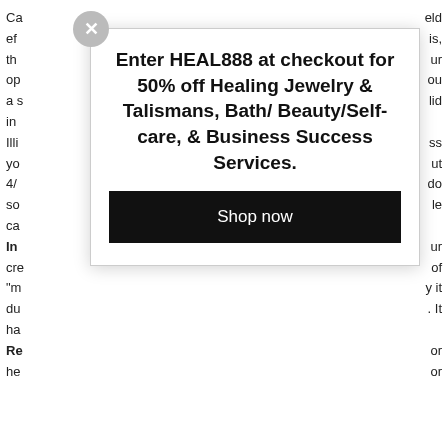Ca... eld
ef... is,
th... ur
op... ou
a s... lid
in...
[Figure (infographic): Modal popup overlay with close button (X circle), promotional text 'Enter HEAL888 at checkout for 50% off Healing Jewelry & Talismans, Bath/ Beauty/Self-care, & Business Success Services.' and a black 'Shop now' button]
Illi... ss
yo... ut
4/... do
so... le
ca...
In... ur
cr... of
"m... y it
du... It
ha...
Re... or
he... or